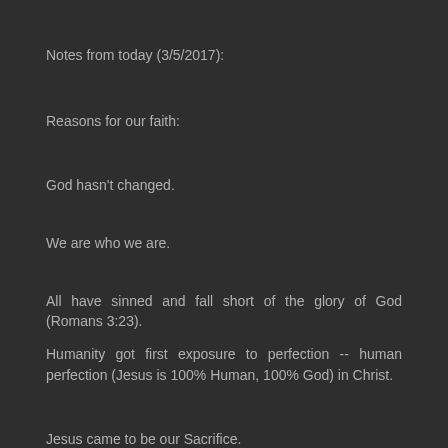Notes from today (3/5/2017):
Reasons for our faith:
God hasn't changed.
We are who we are.
All have sinned and fall short of the glory of God (Romans 3:23).
Humanity got first exposure to perfection -- human perfection (Jesus is 100% Human, 100% God) in Christ.
Jesus came to be our Sacrifice.
Problem of OT sacrifices -- constant blood shed for sin.
They were like paying interest on the principal that could never be touched with an animal sacrifice (or any sacrifice apart from Christ).